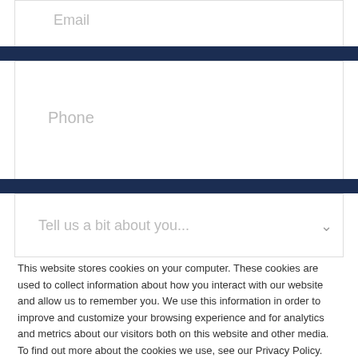[Figure (screenshot): Email input field (partially visible at top) with placeholder text 'Email' on dark navy background]
[Figure (screenshot): Phone input field with placeholder text 'Phone' on white background between dark navy strips]
[Figure (screenshot): Dropdown field with placeholder text 'Tell us a bit about you...' and chevron icon]
This website stores cookies on your computer. These cookies are used to collect information about how you interact with our website and allow us to remember you. We use this information in order to improve and customize your browsing experience and for analytics and metrics about our visitors both on this website and other media. To find out more about the cookies we use, see our Privacy Policy.
If you decline, your information won't be tracked when you visit this website. A single cookie will be used in your browser to remember your preference not to be tracked.
[Figure (screenshot): Two buttons: 'Accept' (filled orange/amber) and 'Decline' (outlined orange/amber)]